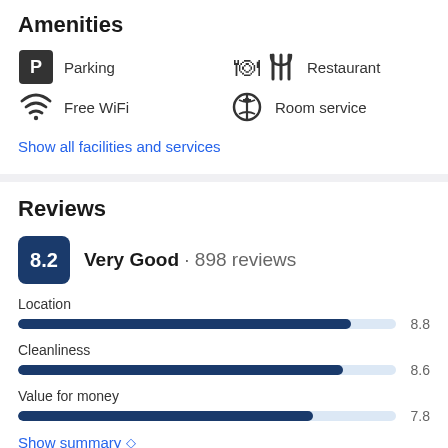Amenities
Parking
Free WiFi
Restaurant
Room service
Show all facilities and services
Reviews
8.2  Very Good · 898 reviews
[Figure (bar-chart): Review ratings]
Show summary